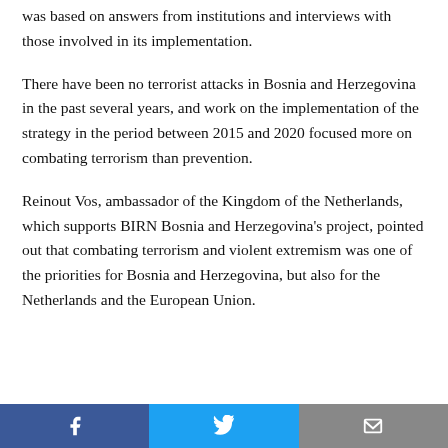was based on answers from institutions and interviews with those involved in its implementation.
There have been no terrorist attacks in Bosnia and Herzegovina in the past several years, and work on the implementation of the strategy in the period between 2015 and 2020 focused more on combating terrorism than prevention.
Reinout Vos, ambassador of the Kingdom of the Netherlands, which supports BIRN Bosnia and Herzegovina's project, pointed out that combating terrorism and violent extremism was one of the priorities for Bosnia and Herzegovina, but also for the Netherlands and the European Union.
social share buttons: Facebook, Twitter, Email